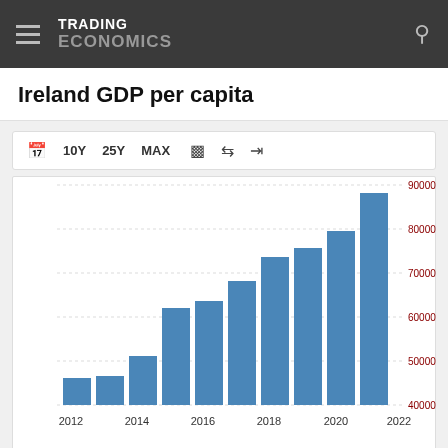TRADING ECONOMICS
Ireland GDP per capita
[Figure (bar-chart): Ireland GDP per capita]